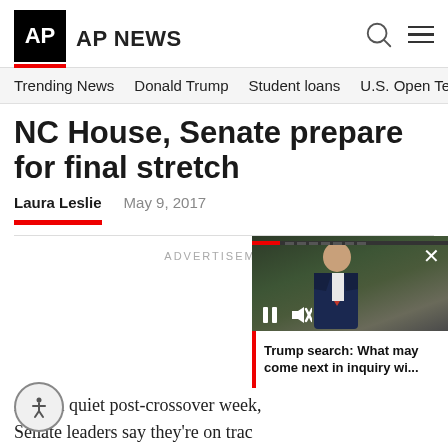AP | AP NEWS
Trending News   Donald Trump   Student loans   U.S. Open Tenn
NC House, Senate prepare for final stretch
Laura Leslie   May 9, 2017
[Figure (screenshot): Video overlay showing a man in a suit (Trump) with video player controls, progress bar, close button, and caption 'Trump search: What may come next in inquiry wi...']
ADVERTISEMENT
After a quiet post-crossover week, Senate leaders say they're on track...